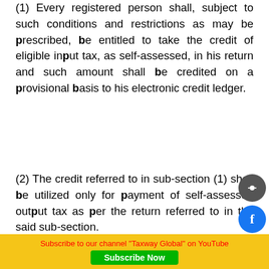(1) Every registered person shall, subject to such conditions and restrictions as may be prescribed, be entitled to take the credit of eligible input tax, as self-assessed, in his return and such amount shall be credited on a provisional basis to his electronic credit ledger.
(2) The credit referred to in sub-section (1) shall be utilized only for payment of self-assessed output tax as per the return referred to in the said sub-section.
Analysis
Now the moot question for answer is whether a dealer having GST registration who bought packing materials from a registered supplier (taxable inward supply), after suffering GST is eligible for input tax
Subscribe to our channel "Taxway Global" on YouTube